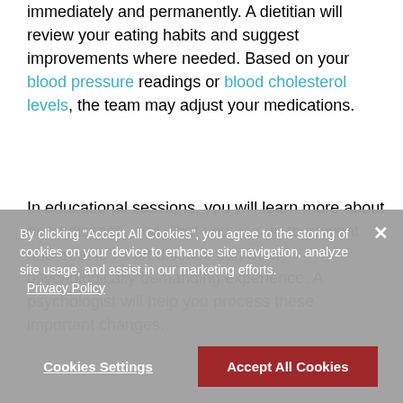immediately and permanently. A dietitian will review your eating habits and suggest improvements where needed. Based on your blood pressure readings or blood cholesterol levels, the team may adjust your medications.
In educational sessions, you will learn more about heart disease, and what you can do to prevent and treat it. Heart disease can be a psychologically demanding experience. A psychologist will help you process these important changes.
Finally, your team will help you to restart your prior activities. At the end of the programme, you will receive
By clicking "Accept All Cookies", you agree to the storing of cookies on your device to enhance site navigation, analyze site usage, and assist in our marketing efforts. Privacy Policy